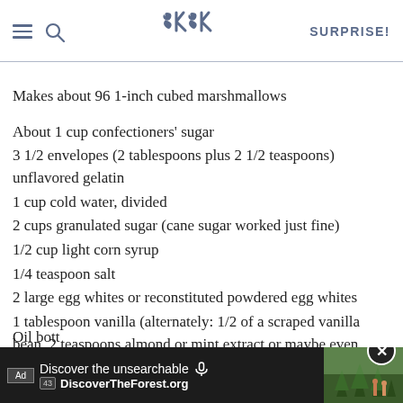SK | SURPRISE!
Makes about 96 1-inch cubed marshmallows
About 1 cup confectioners' sugar
3 1/2 envelopes (2 tablespoons plus 2 1/2 teaspoons) unflavored gelatin
1 cup cold water, divided
2 cups granulated sugar (cane sugar worked just fine)
1/2 cup light corn syrup
1/4 teaspoon salt
2 large egg whites or reconstituted powdered egg whites
1 tablespoon vanilla (alternately: 1/2 of a scraped vanilla bean, 2 teaspoons almond or mint extract or maybe even some food coloring for tinting)
Oil bott...
[Figure (screenshot): Advertisement banner: 'Discover the unsearchable' with DiscoverTheForest.org URL and forest photo]